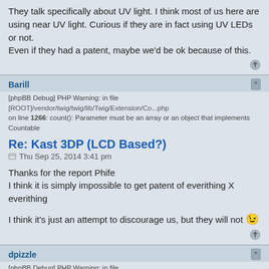They talk specifically about UV light. I think most of us here are using near UV light. Curious if they are in fact using UV LEDs or not.
Even if they had a patent, maybe we'd be ok because of this.
Barill
[phpBB Debug] PHP Warning: in file [ROOT]/vendor/twig/twig/lib/Twig/Extension/Co...php on line 1266: count(): Parameter must be an array or an object that implements Countable
Re: Kast 3DP (LCD Based?)
Thu Sep 25, 2014 3:41 pm
Thanks for the report Phife
I think it is simply impossible to get patent of everithing X everithing

I think it's just an attempt to discourage us, but they will not 😉
dpizzle
[phpBB Debug] PHP Warning: in file [ROOT]/vendor/twig/twig/lib/Twig/Extension/Co...php on line 1266: count(): Parameter must be an array or an object that implements Countable
Re: Kast 3DP (LCD Based?)
Thu Oct 02, 2014 9:58 am
Some more information regarding this printer. 5 inches an hour is pretty impressive.